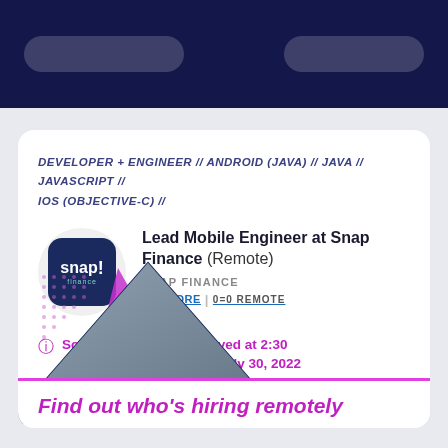DEVELOPER + ENGINEER // ANDROID (JAVA) // JAVA // JAVASCRIPT // IOS (OBJECTIVE-C) //
Lead Mobile Engineer at Snap Finance (Remote)
SNAP FINANCE +80 MORE | 0=0 REMOTE
Sorry, this job was removed at 2:30 p.m. (CST) on Saturday, July 30, 2022
[Figure (illustration): Decorative triangle shapes in magenta/purple with a photo of people working, used as a promotional banner element]
Find out who's hiring remotely